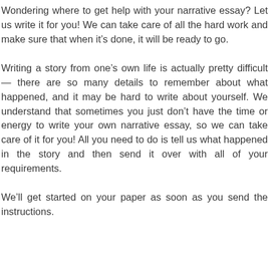Wondering where to get help with your narrative essay? Let us write it for you! We can take care of all the hard work and make sure that when it's done, it will be ready to go.
Writing a story from one’s own life is actually pretty difficult — there are so many details to remember about what happened, and it may be hard to write about yourself. We understand that sometimes you just don’t have the time or energy to write your own narrative essay, so we can take care of it for you! All you need to do is tell us what happened in the story and then send it over with all of your requirements.
We’ll get started on your paper as soon as you send the instructions.